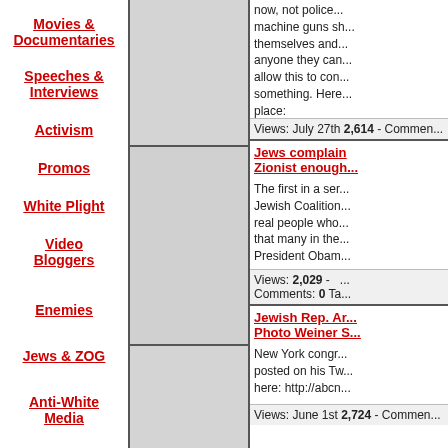Movies & Documentaries
Speeches & Interviews
Activism
Promos
White Plight
Video Bloggers
Enemies
Jews & ZOG
Anti-White Media
now, not police... machine guns sh... themselves and... anyone they can... allow this to con... something. Here... place:
Views: July 27th 2,614 - Comments:
Jews complain Zionist enough...
The first in a ser... Jewish Coalition... real people who... that many in the... President Obam...
Views: 2,029 - Comments: 0 Ta...
Jewish Rep. Ar... Photo Weiner S...
New York congr... posted on his Tw... here: http://abcn...
Views: June 1st 2,724 - Commen...